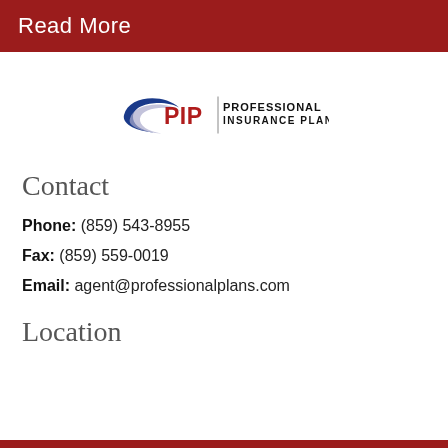Read More
[Figure (logo): PIP Professional Insurance Plans logo with blue swoosh graphic and red PIP text with vertical divider]
Contact
Phone: (859) 543-8955
Fax: (859) 559-0019
Email: agent@professionalplans.com
Location